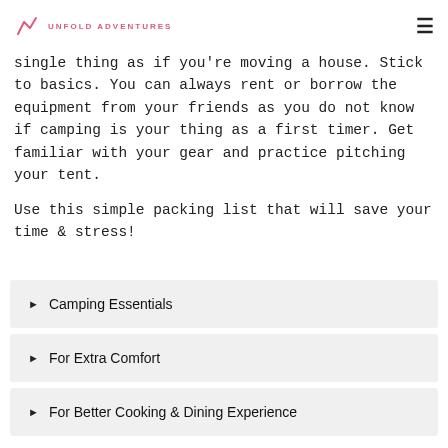UNFOLD ADVENTURES
single thing as if you're moving a house. Stick to basics. You can always rent or borrow the equipment from your friends as you do not know if camping is your thing as a first timer. Get familiar with your gear and practice pitching your tent.
Use this simple packing list that will save your time & stress!
Camping Essentials
For Extra Comfort
For Better Cooking & Dining Experience